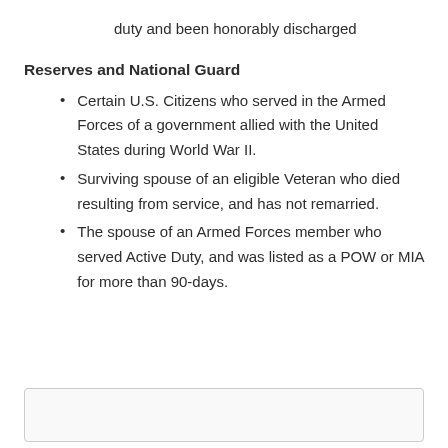duty and been honorably discharged
Reserves and National Guard
Certain U.S. Citizens who served in the Armed Forces of a government allied with the United States during World War II.
Surviving spouse of an eligible Veteran who died resulting from service, and has not remarried.
The spouse of an Armed Forces member who served Active Duty, and was listed as a POW or MIA for more than 90-days.
[Figure (other): Empty bordered box at bottom of page]